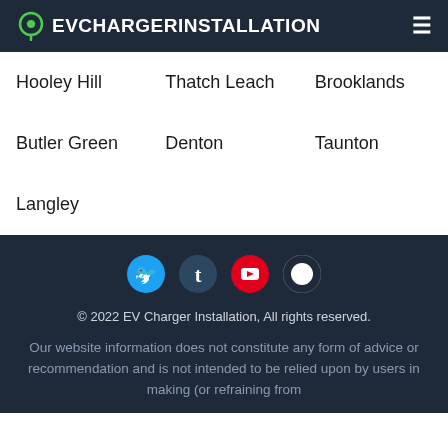EVCHARGERINSTALLATION
Hooley Hill
Thatch Leach
Brooklands
Butler Green
Denton
Taunton
Langley
[Figure (other): Social media icons: Twitter (blue bird), Tumblr (dark blue t), YouTube (red play button), another icon (white circle on dark)]
© 2022 EV Charger Installation, All rights reserved.
Our website information does not constitute any form of advice or recommendation and is not intended to be relied upon by users in making (or refraining from